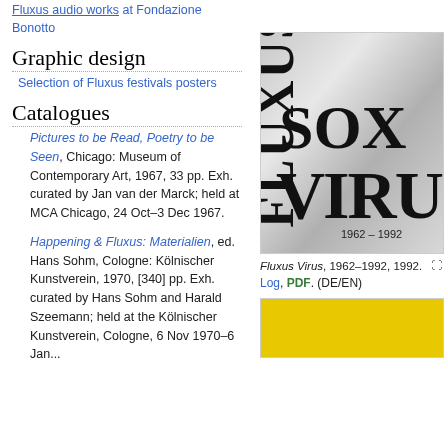Fluxus audio works at Fondazione Bonotto
Graphic design
Selection of Fluxus festivals posters
Catalogues
Pictures to be Read, Poetry to be Seen, Chicago: Museum of Contemporary Art, 1967, 33 pp. Exh. curated by Jan van der Marck; held at MCA Chicago, 24 Oct–3 Dec 1967.
Happening & Fluxus: Materialien, ed. Hans Sohm, Cologne: Kölnischer Kunstverein, 1970, [340] pp. Exh. curated by Hans Sohm and Harald Szeemann; held at the Kölnischer Kunstverein, Cologne, 6 Nov 1970–6 Jan...
[Figure (photo): Cover of Fluxus Virus 1962-1992, showing metallic text on silver background]
Fluxus Virus, 1962–1992, 1992.
Log. PDF. (DE/EN)
[Figure (photo): Yellow background publication cover partially visible]